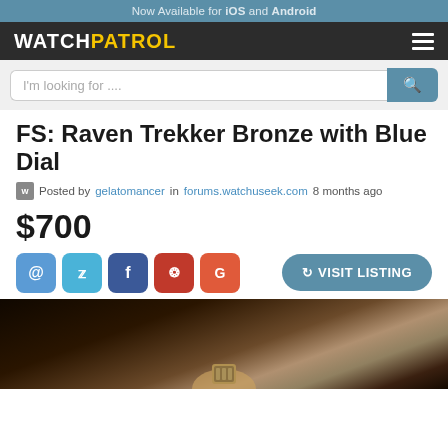Now Available for iOS and Android
[Figure (logo): WatchPatrol logo and hamburger menu on dark navbar]
[Figure (screenshot): Search bar with placeholder text 'I'm looking for ....' and blue search button]
FS: Raven Trekker Bronze with Blue Dial
Posted by gelatomancer in forums.watchuseek.com 8 months ago
$700
[Figure (infographic): Social share buttons (email, Twitter, Facebook, Pinterest, Google) and VISIT LISTING button]
[Figure (photo): Photo of a bronze watch with partial view of the dial showing at the bottom]